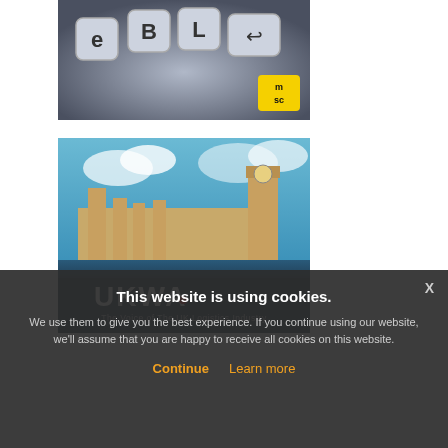[Figure (screenshot): Advertisement image showing keyboard letter tiles spelling 'eBLp' on a dark background, with a yellow MSC logo tile in the bottom right corner.]
[Figure (screenshot): UKWA advertisement showing the Palace of Westminster and Big Ben under a blue cloudy sky, with the UKWA logo and tagline 'The Voice of The UK Logistics Industry' overlaid.]
This website is using cookies.
We use them to give you the best experience. If you continue using our website, we'll assume that you are happy to receive all cookies on this website.
Continue
Learn more